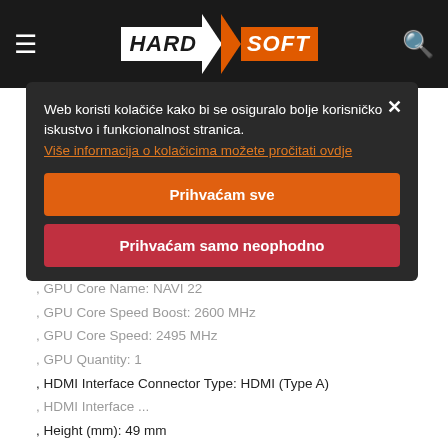HardSoft navigation bar with logo, hamburger menu, and search icon
, Box Weight Brutto (kg): 16 kg
, Compute Units Quantity: 40
, Cooling System Type: Windforce 3X
, Depth (mm): 281 mm
, DisplayPort Interface Quantity: 2
, EAN Code: 4719331310820
, External Power: 8 pin + 6 pin
, Form Factor: Full-height
, GPU Core Name: NAVI 22
, GPU Core Speed Boost: 2600 MHz
, GPU Core Speed: 2495 MHz
, GPU Quantity: 1
, HDMI Interface Connector Type: HDMI (Type A)
, HDMI Interface ...
, Height (mm): 49 mm
, Included Accessories: Quick Start Guide
, Installed Video Memory Storage Capacity: 12 GB
, Maksimalna rezolucija: 7680x4320
, Max. Monitors Supports: 4
Web koristi kolačiće kako bi se osiguralo bolje korisničko iskustvo i funkcionalnost stranica. Više informacija o kolačicima možete pročitati ovdje
Prihvaćam sve
Prihvaćam samo neophodno